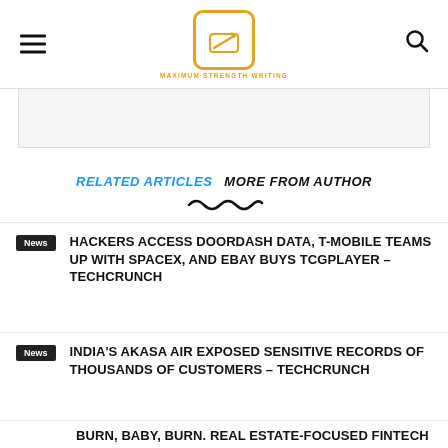MAXIMUM STRENGTH WRITING
RELATED ARTICLES  MORE FROM AUTHOR
HACKERS ACCESS DOORDASH DATA, T-MOBILE TEAMS UP WITH SPACEX, AND EBAY BUYS TCGPLAYER – TECHCRUNCH
INDIA'S AKASA AIR EXPOSED SENSITIVE RECORDS OF THOUSANDS OF CUSTOMERS – TECHCRUNCH
BURN, BABY, BURN. REAL ESTATE-FOCUSED FINTECH STARTUPS FEEL THE HEAT – TECHCRUNCH